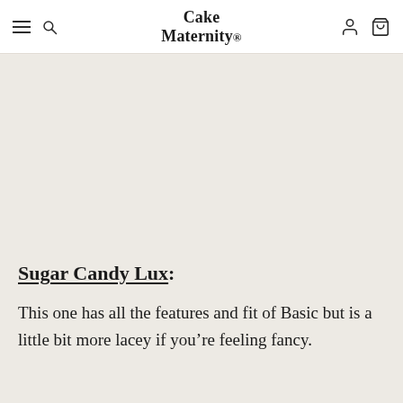Cake Maternity
Sugar Candy Lux:
This one has all the features and fit of Basic but is a little bit more lacey if you’re feeling fancy.